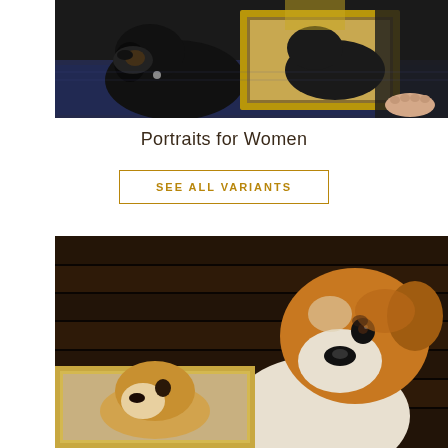[Figure (photo): A black Labrador dog sitting next to a framed portrait painting of a similar dog, on a patterned blue rug. Person's feet visible in background wearing dark pants.]
Portraits for Women
SEE ALL VARIANTS
[Figure (photo): A brown and white Jack Russell Terrier dog sitting in front of a framed portrait painting of the same dog, against a dark wood panel background.]